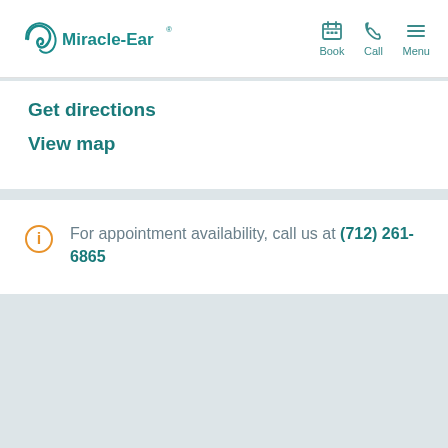[Figure (logo): Miracle-Ear logo with teal wave/ear motif and brand name]
Book  Call  Menu
Get directions
View map
For appointment availability, call us at (712) 261-6865